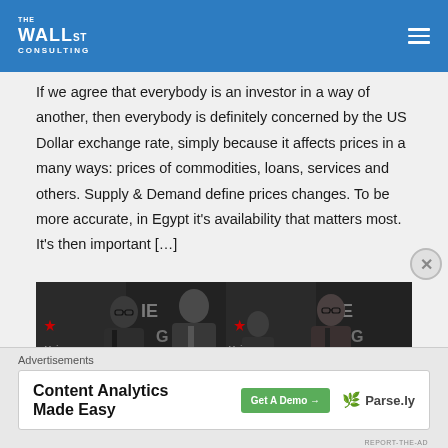Wall St Consulting
If we agree that everybody is an investor in a way of another, then everybody is definitely concerned by the US Dollar exchange rate, simply because it affects prices in a many ways: prices of commodities, loans, services and others. Supply & Demand define prices changes. To be more accurate, in Egypt it's availability that matters most. It's then important […]
[Figure (photo): Group photo of four men in suits at what appears to be a premiere event with Heineken branding and 'The Big Short' backdrop]
Advertisements
Content Analytics Made Easy  Get A Demo →  Parse.ly